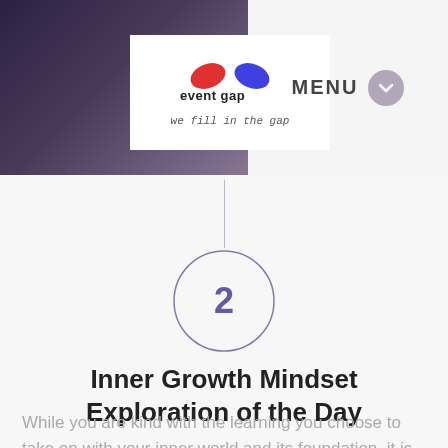[Figure (logo): Event Gap logo with red and blue teardrop shapes and text 'event gap, we fill in the gap']
MENU
[Figure (infographic): Number 2 inside a circle with a vertical line above it, indicating step 2]
Inner Growth Mindset Exploration of the Day
While you are kind with the learning you choose to take on with your inner world and its foundation, it is the learning that comes by surprise